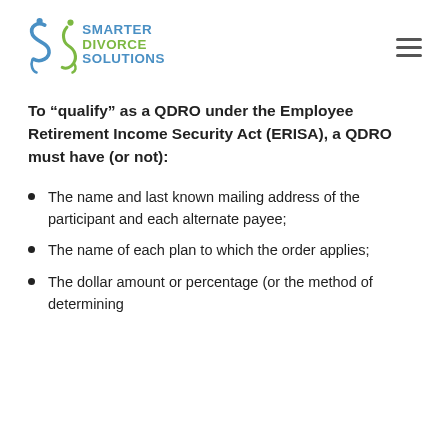Smarter Divorce Solutions
To “qualify” as a QDRO under the Employee Retirement Income Security Act (ERISA), a QDRO must have (or not):
The name and last known mailing address of the participant and each alternate payee;
The name of each plan to which the order applies;
The dollar amount or percentage (or the method of determining